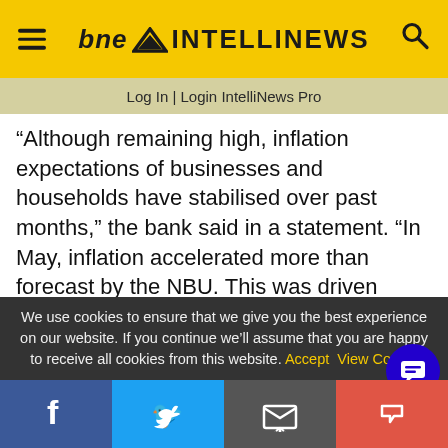bne INTELLINEWS
Log In | Login IntelliNews Pro
“Although remaining high, inflation expectations of businesses and households have stabilised over past months,” the bank said in a statement. “In May, inflation accelerated more than forecast by the NBU. This was driven mainly by an increase in prices for some highly volatile consumer basket components, which was caused by short-term factors.”
The NBU said that the acceleration in prices,
We use cookies to ensure that we give you the best experience on our website. If you continue we’ll assume that you are happy to receive all cookies from this website. Accept  View Cookie
Facebook | Twitter | Email | Share